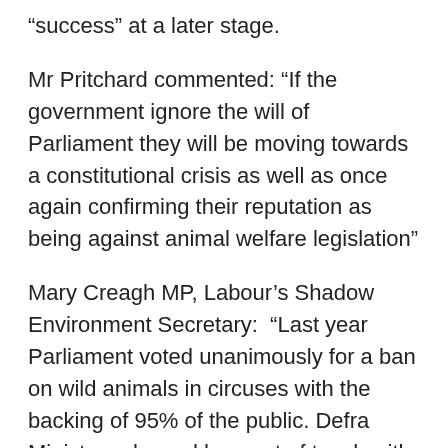“success” at a later stage.
Mr Pritchard commented: “If the government ignore the will of Parliament they will be moving towards a constitutional crisis as well as once again confirming their reputation as being against animal welfare legislation”
Mary Creagh MP, Labour’s Shadow Environment Secretary:  “Last year Parliament voted unanimously for a ban on wild animals in circuses with the backing of 95% of the public. Defra Ministers showed how out of touch with the public they are and hid behind spurious threats of legal challenges in the EU as an excuse for doing nothing.
“Today, Ministers announce a licensing regime until a ban comes in 2015, saying there is no room on the parliamentary timetable for new legislation. Yet only yesterday they introduced a water bill into the house